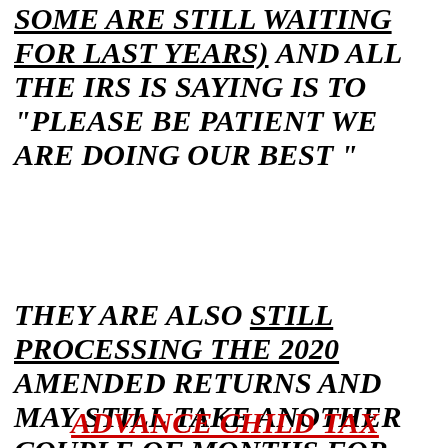SOME ARE STILL WAITING FOR LAST YEARS) AND ALL THE IRS IS SAYING IS TO "PLEASE BE PATIENT WE ARE DOING OUR BEST "
THEY ARE ALSO STILL PROCESSING THE 2020 AMENDED RETURNS AND MAY STILL TAKE ANOTHER COUPLE OF MONTHS FOR THOSE OR ANY OTHER 2020 RETURNS THAT THEY HAVE NOT COMPLETED AND REFUNDS FOR YET.
ADVANCE CHILD TAX CREDIT